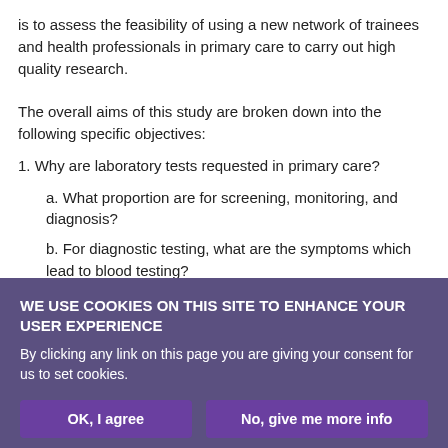is to assess the feasibility of using a new network of trainees and health professionals in primary care to carry out high quality research.
The overall aims of this study are broken down into the following specific objectives:
1. Why are laboratory tests requested in primary care?
a. What proportion are for screening, monitoring, and diagnosis?
b. For diagnostic testing, what are the symptoms which lead to blood testing?
WE USE COOKIES ON THIS SITE TO ENHANCE YOUR USER EXPERIENCE
By clicking any link on this page you are giving your consent for us to set cookies.